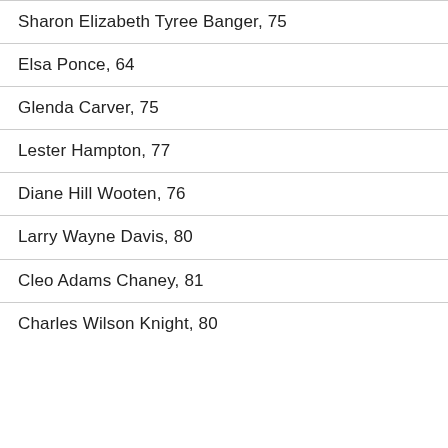Sharon Elizabeth Tyree Banger, 75
Elsa Ponce, 64
Glenda Carver, 75
Lester Hampton, 77
Diane Hill Wooten, 76
Larry Wayne Davis, 80
Cleo Adams Chaney, 81
Charles Wilson Knight, 80